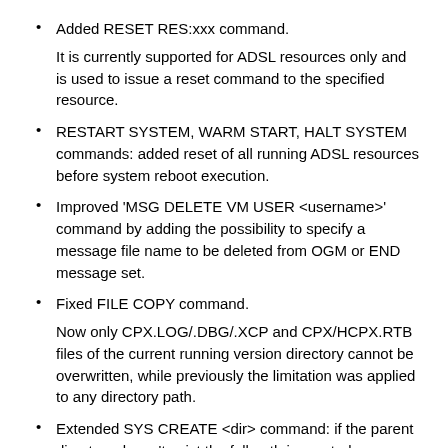Added RESET RES:xxx command.

It is currently supported for ADSL resources only and is used to issue a reset command to the specified resource.
RESTART SYSTEM, WARM START, HALT SYSTEM commands: added reset of all running ADSL resources before system reboot execution.
Improved 'MSG DELETE VM USER <username>' command by adding the possibility to specify a message file name to be deleted from OGM or END message set.
Fixed FILE COPY command.

Now only CPX.LOG/.DBG/.XCP and CPX/HCPX.RTB files of the current running version directory cannot be overwritten, while previously the limitation was applied to any directory path.
Extended SYS CREATE <dir> command: if the parent directory doesn't exist the full path is created.
Added new 'X DEV:' command combinations that allow